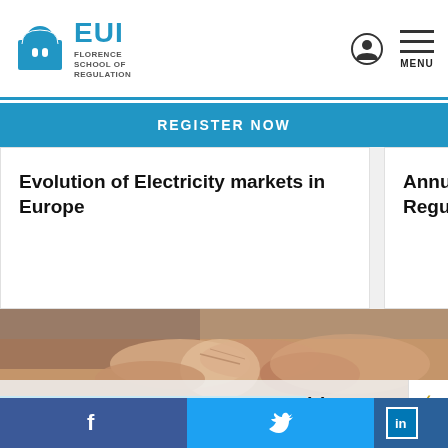EUI Florence School of Regulation
REGISTER NOW
Evolution of Electricity markets in Europe
Annual Training on Regulation o...
[Figure (photo): Close-up photograph of hands clasped together on a light background]
JOIN OUR COMMUNITY
To meet, discuss and learn in the channel that suits
This event has passed.
Facebook | Twitter | LinkedIn | top